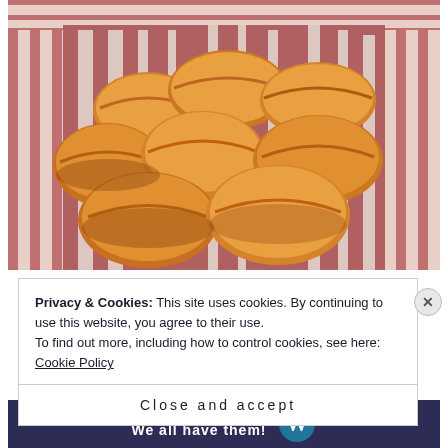[Figure (photo): Close-up photo of golden-brown baked rolls or biscuits piled in a red and white striped cloth or towel]
Privacy & Cookies: This site uses cookies. By continuing to use this website, you agree to their use.
To find out more, including how to control cookies, see here:
Cookie Policy
Close and accept
[Figure (screenshot): Advertisement banner with dark blue background showing 'Opinions. We all have them!' with WordPress logo]